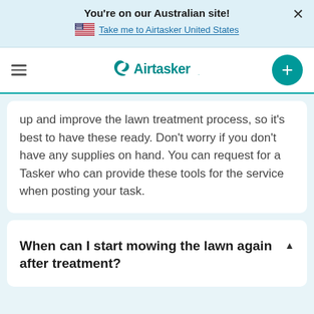You're on our Australian site!
Take me to Airtasker United States
[Figure (logo): Airtasker logo in teal with stylized bird/checkmark icon]
up and improve the lawn treatment process, so it's best to have these ready. Don't worry if you don't have any supplies on hand. You can request for a Tasker who can provide these tools for the service when posting your task.
When can I start mowing the lawn again after treatment?